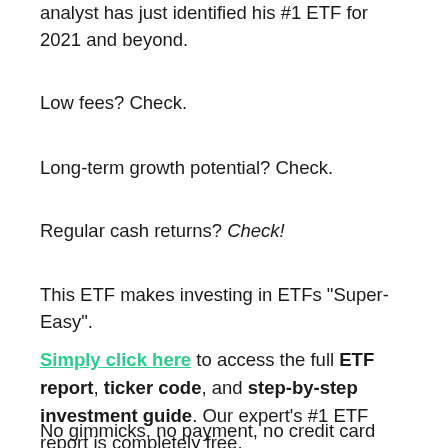analyst has just identified his #1 ETF for 2021 and beyond.
Low fees? Check.
Long-term growth potential? Check.
Regular cash returns? Check!
This ETF makes investing in ETFs "Super-Easy".
Simply click here to access the full ETF report, ticker code, and step-by-step investment guide. Our expert's #1 ETF report is completely free.
No gimmicks, no payment, no credit card info. Just